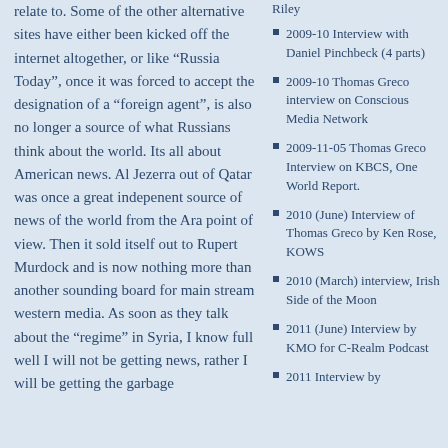relate to. Some of the other alternative sites have either been kicked off the internet altogether, or like “Russia Today”, once it was forced to accept the designation of a “foreign agent”, is also no longer a source of what Russians think about the world. Its all about American news. Al Jezerra out of Qatar was once a great indepenent source of news of the world from the Ara point of view. Then it sold itself out to Rupert Murdock and is now nothing more than another sounding board for main stream western media. As soon as they talk about the “regime” in Syria, I know full well I will not be getting news, rather I will be getting the garbage
2009-10 Interview with Daniel Pinchbeck (4 parts)
2009-10 Thomas Greco interview on Conscious Media Network
2009-11-05 Thomas Greco Interview on KBCS, One World Report.
2010 (June) Interview of Thomas Greco by Ken Rose, KOWS
2010 (March) interview, Irish Side of the Moon
2011 (June) Interview by KMO for C-Realm Podcast
2011 Interview by